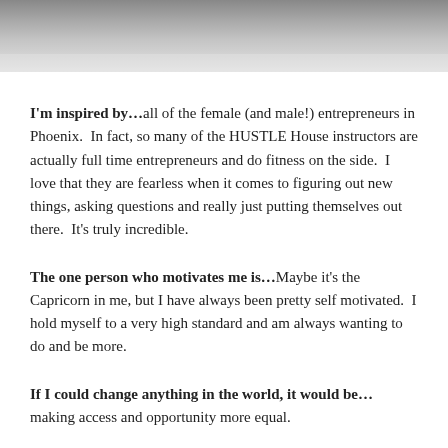[Figure (photo): Cropped photo of a person stretching on the ground, wearing white pants and blue sneakers, shot from above on a grey surface.]
I'm inspired by…all of the female (and male!) entrepreneurs in Phoenix.  In fact, so many of the HUSTLE House instructors are actually full time entrepreneurs and do fitness on the side.  I love that they are fearless when it comes to figuring out new things, asking questions and really just putting themselves out there.  It's truly incredible.
The one person who motivates me is…Maybe it's the Capricorn in me, but I have always been pretty self motivated.  I hold myself to a very high standard and am always wanting to do and be more.
If I could change anything in the world, it would be… making access and opportunity more equal.